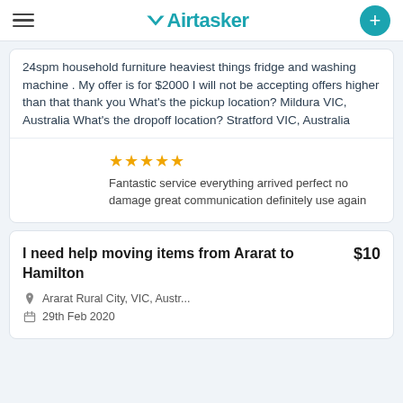Airtasker
24spm household furniture heaviest things fridge and washing machine . My offer is for $2000 I will not be accepting offers higher than that thank you What's the pickup location? Mildura VIC, Australia What's the dropoff location? Stratford VIC, Australia
Fantastic service everything arrived perfect no damage great communication definitely use again
I need help moving items from Ararat to Hamilton $10
Ararat Rural City, VIC, Austr...
29th Feb 2020